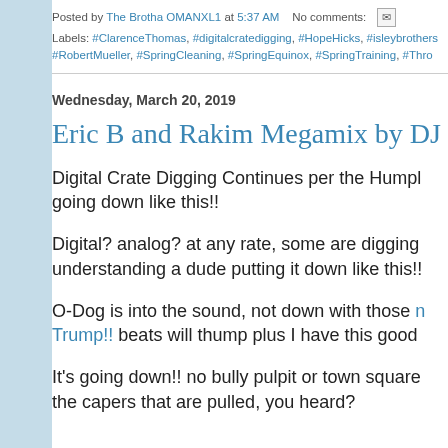Posted by The Brotha OMANXL1 at 5:37 AM   No comments:
Labels: #ClarenceThomas, #digitalcratedigging, #HopeHicks, #isleybrothers, #RobertMueller, #SpringCleaning, #SpringEquinox, #SpringTraining, #Thro...
Wednesday, March 20, 2019
Eric B and Rakim Megamix by DJ Dan...
Digital Crate Digging Continues per the Humph... going down like this!!
Digital? analog? at any rate, some are digging... understanding a dude putting it down like this!!
O-Dog is into the sound, not down with those n... Trump!! beats will thump plus I have this good...
It's going down!! no bully pulpit or town square... the capers that are pulled, you heard?